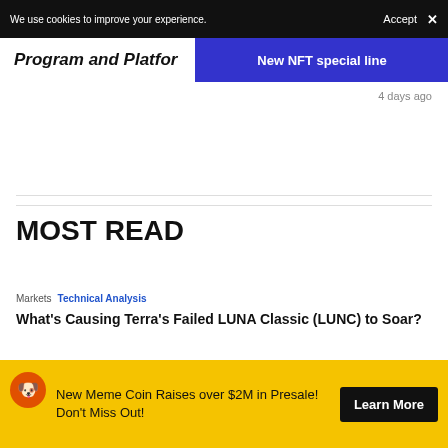We use cookies to improve your experience.   Accept  ×
Program and Platfo…
[Figure (other): Blue banner with white text: New NFT special line]
4 days ago
MOST READ
Markets  Technical Analysis
What's Causing Terra's Failed LUNA Classic (LUNC) to Soar?
4 days ago
Markets  News Report
Binance to Launch Football Fan Token Futures Index, Just in Time for World Cup
New Meme Coin Raises over $2M in Presale! Don't Miss Out!   Learn More